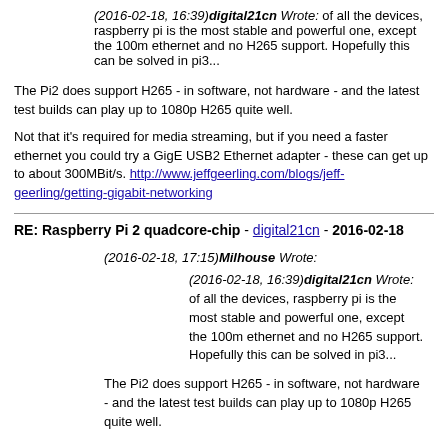(2016-02-18, 16:39)digital21cn Wrote: of all the devices, raspberry pi is the most stable and powerful one, except the 100m ethernet and no H265 support. Hopefully this can be solved in pi3...
The Pi2 does support H265 - in software, not hardware - and the latest test builds can play up to 1080p H265 quite well.
Not that it's required for media streaming, but if you need a faster ethernet you could try a GigE USB2 Ethernet adapter - these can get up to about 300MBit/s. http://www.jeffgeerling.com/blogs/jeff-geerling/getting-gigabit-networking
RE: Raspberry Pi 2 quadcore-chip - digital21cn - 2016-02-18
(2016-02-18, 17:15)Milhouse Wrote:
(2016-02-18, 16:39)digital21cn Wrote: of all the devices, raspberry pi is the most stable and powerful one, except the 100m ethernet and no H265 support. Hopefully this can be solved in pi3...
The Pi2 does support H265 - in software, not hardware - and the latest test builds can play up to 1080p H265 quite well.